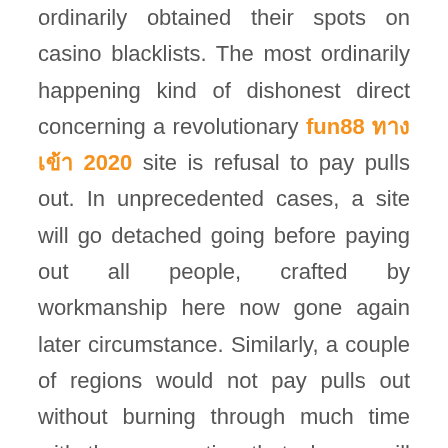ordinarily obtained their spots on casino blacklists. The most ordinarily happening kind of dishonest direct concerning a revolutionary fun88 ทางเข้า 2020 site is refusal to pay pulls out. In unprecedented cases, a site will go detached going before paying out all people, crafted by workmanship here now gone again later circumstance. Similarly, a couple of regions would not pay pulls out without burning through much time with the assumption that players will continue